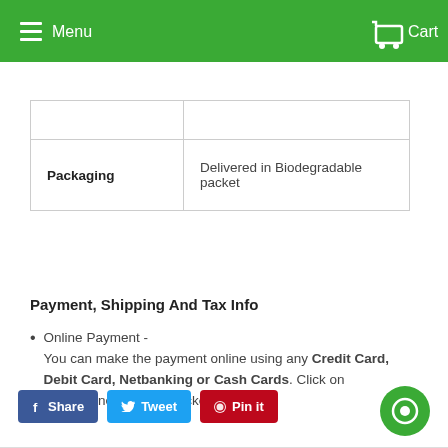[Figure (screenshot): Green navigation bar with hamburger menu icon and 'Menu' text on the left, cart icon and 'Cart' text on the right]
|  |  |
| Packaging | Delivered in Biodegradable packet |
Payment, Shipping And Tax Info
Online Payment - You can make the payment online using any Credit Card, Debit Card, Netbanking or Cash Cards. Click on 'PayUMoney' at the checkout.
Cash on delivery - NA
[Figure (screenshot): Social share buttons: Share (Facebook blue), Tweet (Twitter blue), Pin it (Pinterest red), and a green chat bubble icon at bottom right]